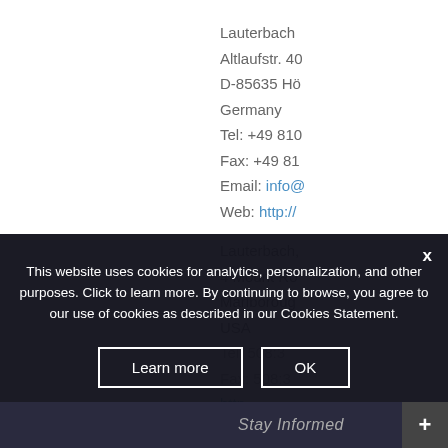Lauterbach
Altlaufstr. 40
D-85635 Hö
Germany
Tel: +49 810
Fax: +49 81
Email: info@
Web: http://

Lauterbach,
4 Mount Ro
Marlboroug
USA
Tel: 508-3
Fax: 508-3
http
Web: http//
This website uses cookies for analytics, personalization, and other purposes. Click to learn more. By continuing to browse, you agree to our use of cookies as described in our Cookies Statement.
Learn more
OK
Stay Informed